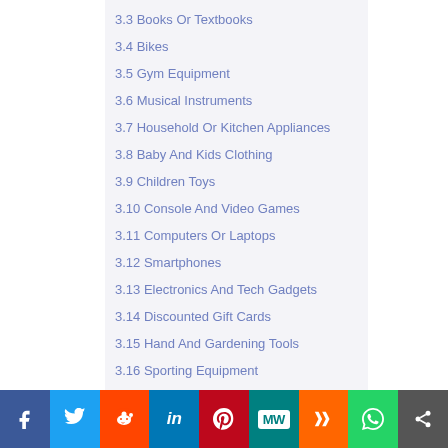3.3 Books Or Textbooks
3.4 Bikes
3.5 Gym Equipment
3.6 Musical Instruments
3.7 Household Or Kitchen Appliances
3.8 Baby And Kids Clothing
3.9 Children Toys
3.10 Console And Video Games
3.11 Computers Or Laptops
3.12 Smartphones
3.13 Electronics And Tech Gadgets
3.14 Discounted Gift Cards
3.15 Hand And Gardening Tools
3.16 Sporting Equipment
3.17 Designer Clothes
3.18 Jewelry
3.19 Wedding Dresses And Accessories